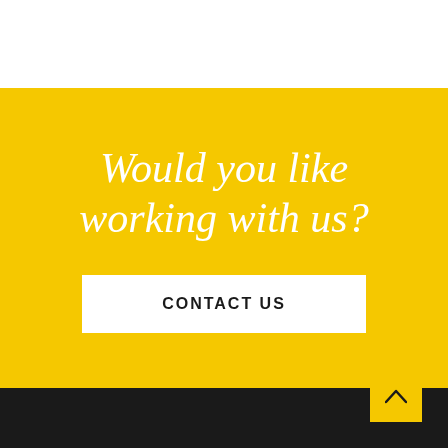Would you like working with us?
CONTACT US
[Figure (other): Upward arrow chevron icon in a yellow square box overlapping black footer section]